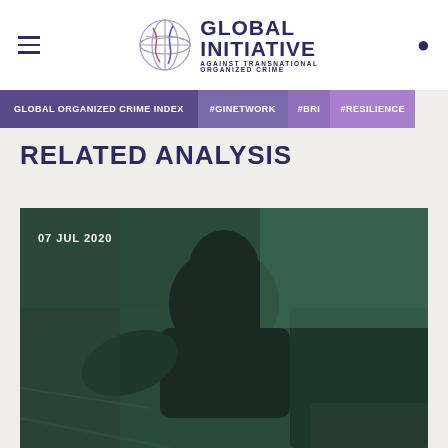Global Initiative Against Transnational Organized Crime
GLOBAL ORGANIZED CRIME INDEX   #GINETWORK   #BRI   #RESILIENCE
RELATED ANALYSIS
[Figure (photo): Dark green-tinted photograph of a silhouetted figure, date overlay reads 07 JUL 2020]